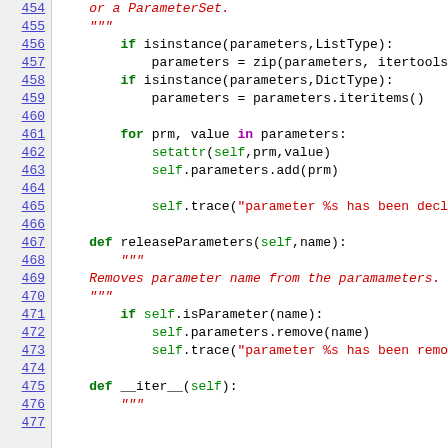Code listing lines 454-476 showing Python source code with releaseParameters and __iter__ methods